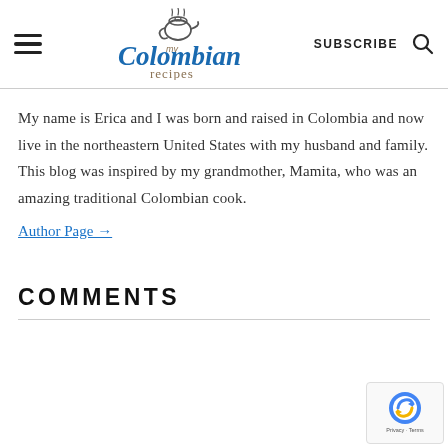my Colombian recipes | SUBSCRIBE
My name is Erica and I was born and raised in Colombia and now live in the northeastern United States with my husband and family. This blog was inspired by my grandmother, Mamita, who was an amazing traditional Colombian cook.
Author Page →
COMMENTS